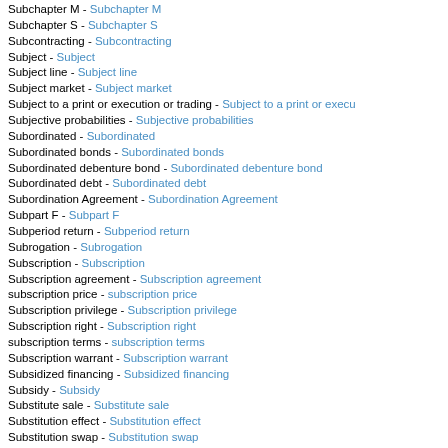Subchapter M - Subchapter M
Subchapter S - Subchapter S
Subcontracting - Subcontracting
Subject - Subject
Subject line - Subject line
Subject market - Subject market
Subject to a print or execution or trading - Subject to a print or execution or trading
Subjective probabilities - Subjective probabilities
Subordinated - Subordinated
Subordinated bonds - Subordinated bonds
Subordinated debenture bond - Subordinated debenture bond
Subordinated debt - Subordinated debt
Subordination Agreement - Subordination Agreement
Subpart F - Subpart F
Subperiod return - Subperiod return
Subrogation - Subrogation
Subscription - Subscription
Subscription agreement - Subscription agreement
subscription price - subscription price
Subscription privilege - Subscription privilege
Subscription right - Subscription right
subscription terms - subscription terms
Subscription warrant - Subscription warrant
Subsidized financing - Subsidized financing
Subsidy - Subsidy
Substitute sale - Substitute sale
Substitution effect - Substitution effect
Substitution swap - Substitution swap
Success tax - Success tax
Suicide pill - Suicide pill
Suitability - Suitability
Suitability rules - Suitability rules
Suitable - Suitable
sum assured - sum assured
Sum of the years digits depreciation - Sum of the years digits depreciation
Sunk costs - Sunk costs
Sunrise industries - Sunrise industries
Sunset clause - Sunset clause
Sunset industry argument - Sunset industry argument
Super 301 - Super 301
Super affiliate - Super affiliate